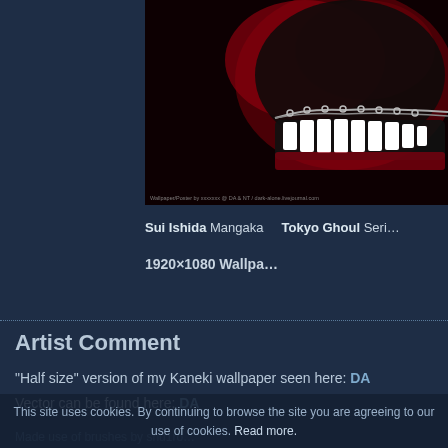[Figure (illustration): Dark illustration of a masked face (Tokyo Ghoul's Kaneki mask) with sharp metallic teeth and red/black background, with small watermark text at bottom: 'Wallpaper/Poster by xxxxxxx @ DA & NT / dark-alone.livejournal.com']
Sui Ishida Mangaka    Tokyo Ghoul Seri...
1920x1080 Wallpa...
Artist Comment
"Half size" version of my Kaneki wallpaper seen here: DA
Vector can be found here: DA
Made use of brushes by shu1ro...
This site uses cookies. By continuing to browse the site you are agreeing to our use of cookies. Read more.